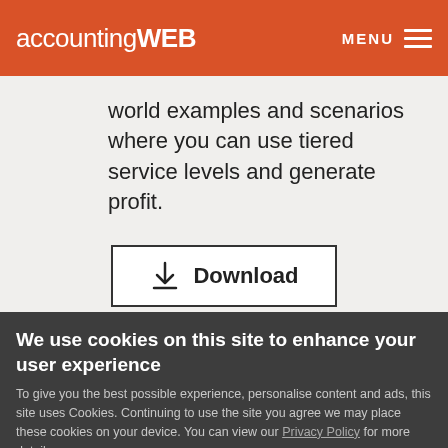accountingWEB  MENU
world examples and scenarios where you can use tiered service levels and generate profit.
[Figure (other): Download button with download icon and border]
We use cookies on this site to enhance your user experience
To give you the best possible experience, personalise content and ads, this site uses Cookies. Continuing to use the site you agree we may place these cookies on your device. You can view our Privacy Policy for more details.
No, give me more info
OK, I agree